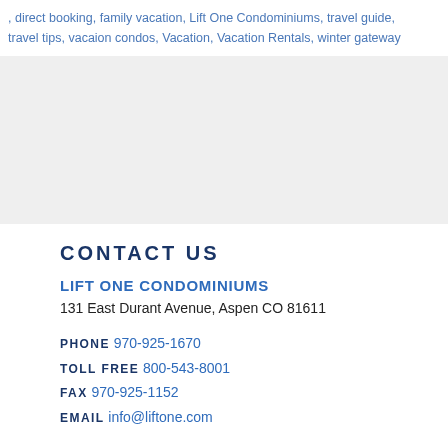, direct booking, family vacation, Lift One Condominiums, travel guide, travel tips, vacaion condos, Vacation, Vacation Rentals, winter gateway
[Figure (other): Gray rectangular block, likely a placeholder or image area]
CONTACT US
LIFT ONE CONDOMINIUMS
131 East Durant Avenue, Aspen CO 81611
PHONE 970-925-1670
TOLL FREE 800-543-8001
FAX 970-925-1152
EMAIL info@liftone.com